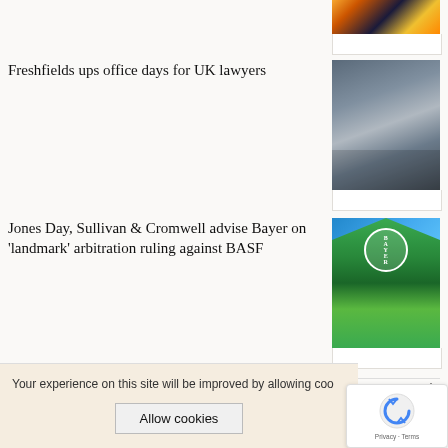[Figure (photo): Partial aerial city at night photo at top right]
Freshfields ups office days for UK lawyers
[Figure (photo): Crowd of business professionals walking, group photo]
Jones Day, Sullivan & Cromwell advise Bayer on 'landmark' arbitration ruling against BASF
[Figure (photo): Bayer logo sign with green plants in foreground]
LATEST ARTICLES
[Figure (photo): Partial portrait photo circle thumbnail]
Your experience on this site will be improved by allowing coo
Allow cookies